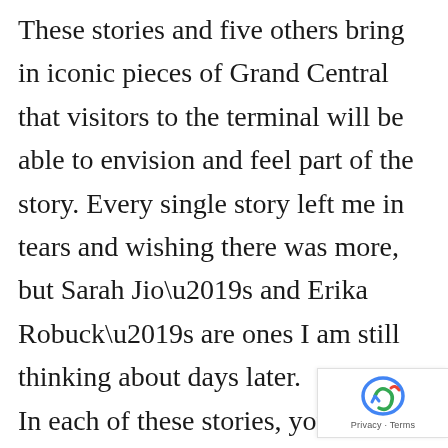These stories and five others bring in iconic pieces of Grand Central that visitors to the terminal will be able to envision and feel part of the story. Every single story left me in tears and wishing there was more, but Sarah Jio’s and Erika Robuck’s are ones I am still thinking about days later.
In each of these stories, you feel the devastating pain of war and the love that kept hope alive.  You will be left wanting more and you won’t be able to forget the characters or their choices.  The unique way